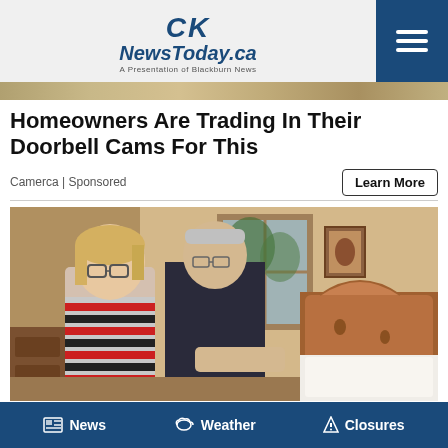CK NewsToday.ca — A Presentation of Blackburn News
Homeowners Are Trading In Their Doorbell Cams For This
Camerca | Sponsored
[Figure (photo): An older couple standing beside a bed in a bedroom. The woman has blonde hair and glasses and wears a striped red and black sweater. The man behind her is leaning on the bed with a dark polo shirt. There is a wooden headboard, a window, and a small framed picture on the wall.]
News   Weather   Closures